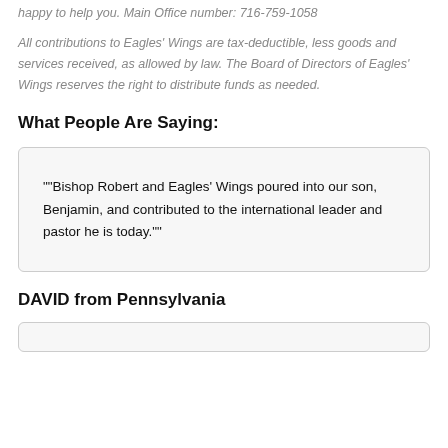happy to help you. Main Office number: 716-759-1058
All contributions to Eagles' Wings are tax-deductible, less goods and services received, as allowed by law. The Board of Directors of Eagles' Wings reserves the right to distribute funds as needed.
What People Are Saying:
““Bishop Robert and Eagles’ Wings poured into our son, Benjamin, and contributed to the international leader and pastor he is today.””
DAVID from Pennsylvania